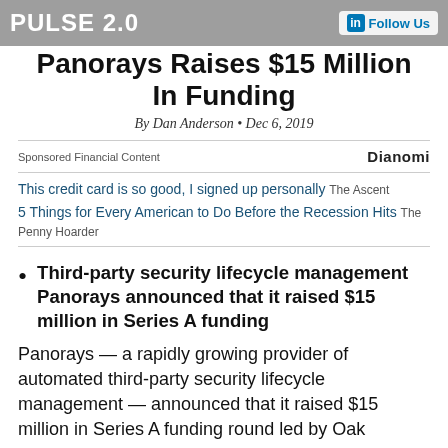PULSE 2.0 | LinkedIn Follow Us
Panorays Raises $15 Million In Funding
By Dan Anderson • Dec 6, 2019
Sponsored Financial Content | Dianomi
This credit card is so good, I signed up personally  The Ascent
5 Things for Every American to Do Before the Recession Hits  The Penny Hoarder
Third-party security lifecycle management Panorays announced that it raised $15 million in Series A funding
Panorays — a rapidly growing provider of automated third-party security lifecycle management — announced that it raised $15 million in Series A funding round led by Oak